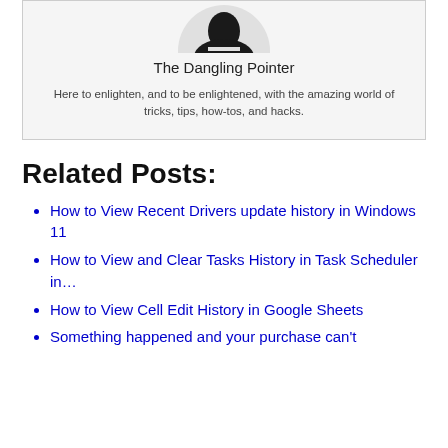[Figure (illustration): Circular avatar image of The Dangling Pointer blog, showing a dark figure on a light/grey background]
The Dangling Pointer
Here to enlighten, and to be enlightened, with the amazing world of tricks, tips, how-tos, and hacks.
Related Posts:
How to View Recent Drivers update history in Windows 11
How to View and Clear Tasks History in Task Scheduler in…
How to View Cell Edit History in Google Sheets
Something happened and your purchase can't